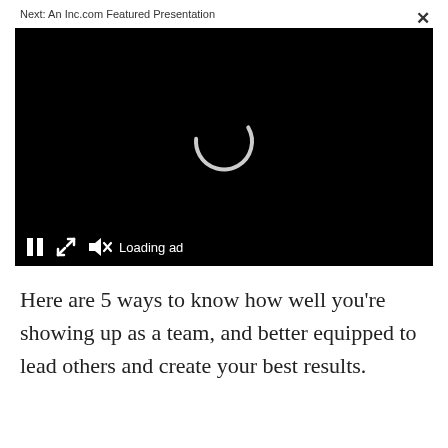Next: An Inc.com Featured Presentation
[Figure (screenshot): Video player with black background showing a loading spinner in the center and playback controls at the bottom including pause button, expand button, mute button with X, and 'Loading ad' text]
Here are 5 ways to know how well you're showing up as a team, and better equipped to lead others and create your best results.